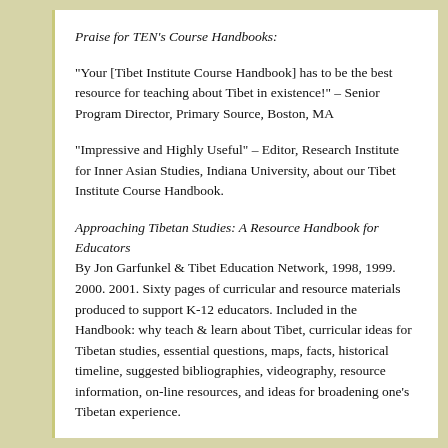Praise for TEN's Course Handbooks:
“Your [Tibet Institute Course Handbook] has to be the best resource for teaching about Tibet in existence!” – Senior Program Director, Primary Source, Boston, MA
“Impressive and Highly Useful” – Editor, Research Institute for Inner Asian Studies, Indiana University, about our Tibet Institute Course Handbook.
Approaching Tibetan Studies: A Resource Handbook for Educators
By Jon Garfunkel & Tibet Education Network, 1998, 1999. 2000. 2001. Sixty pages of curricular and resource materials produced to support K-12 educators. Included in the Handbook: why teach & learn about Tibet, curricular ideas for Tibetan studies, essential questions, maps, facts, historical timeline, suggested bibliographies, videography, resource information, on-line resources, and ideas for broadening one’s Tibetan experience.